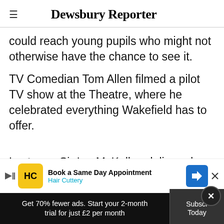Dewsbury Reporter
could reach young pupils who might not otherwise have the chance to see it.
TV Comedian Tom Allen filmed a pilot TV show at the Theatre, where he celebrated everything Wakefield has to offer.
Last year Sir Ian McKellen delivered anecdotes and monologues from his favourite Shakespeare plays, raising money for the Theatre and the Learning and
[Figure (screenshot): Advertisement: Book a Same Day Appointment - Hair Cuttery, with HC logo and navigation arrow icon]
Get 70% fewer ads. Start your 2-month trial for just £2 per month